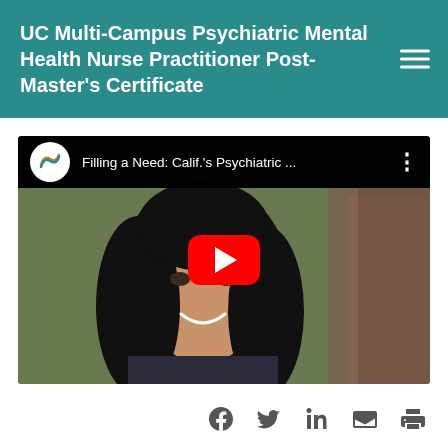UC Multi-Campus Psychiatric Mental Health Nurse Practitioner Post-Master's Certificate
[Figure (screenshot): YouTube video thumbnail showing a young woman with long dark hair smiling, with the video title 'Filling a Need: Calif.'s Psychiatric ...' displayed in the top bar, and a red YouTube play button overlay in the center.]